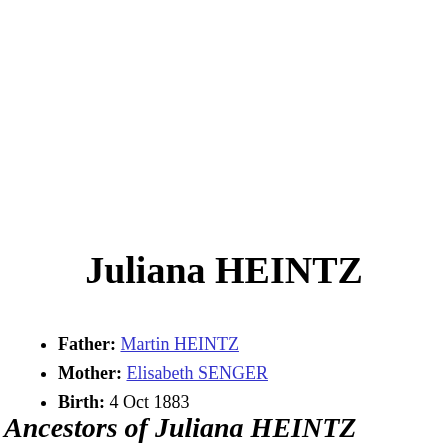Juliana HEINTZ
Father: Martin HEINTZ
Mother: Elisabeth SENGER
Birth: 4 Oct 1883
Ancestors of Juliana HEINTZ